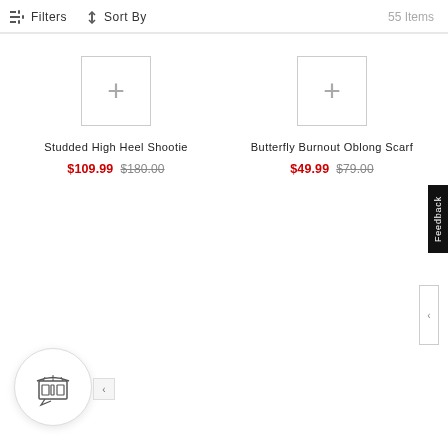Filters  Sort By  55 Items
Studded High Heel Shootie
$109.99  $180.00
Butterfly Burnout Oblong Scarf
$49.99  $79.00
Feedback